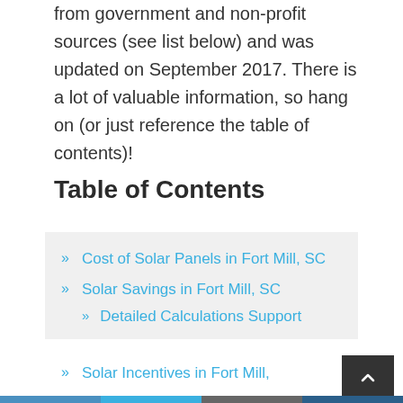from government and non-profit sources (see list below) and was updated on September 2017. There is a lot of valuable information, so hang on (or just reference the table of contents)!
Table of Contents
Cost of Solar Panels in Fort Mill, SC
Solar Savings in Fort Mill, SC
Detailed Calculations Support
Solar Incentives in Fort Mill,